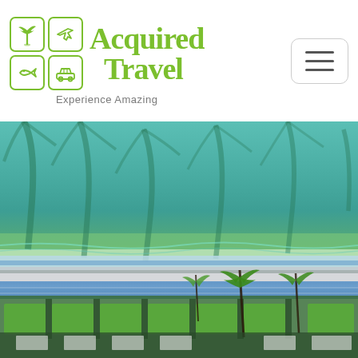[Figure (logo): Acquired Travel logo with 4-icon grid (palm tree, airplane, fish, car) and green handwritten text 'Acquired Travel' with tagline 'Experience Amazing']
[Figure (photo): Aerial drone photograph of a tropical beach resort showing turquoise ocean water, palm tree shadows on the beach, resort pool area, and green sun loungers arranged in rows]